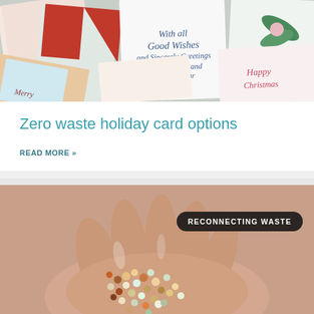[Figure (photo): A collection of vintage Christmas and holiday greeting cards spread out, with various illustrations of holly, flowers, and holiday greetings including 'Good Wishes' and 'Happy Christmas']
Zero waste holiday card options
READ MORE »
[Figure (photo): Close-up of two wet hands holding a pile of small colorful plastic pellets/microplastics, with a dark badge reading 'RECONNECTING WASTE']